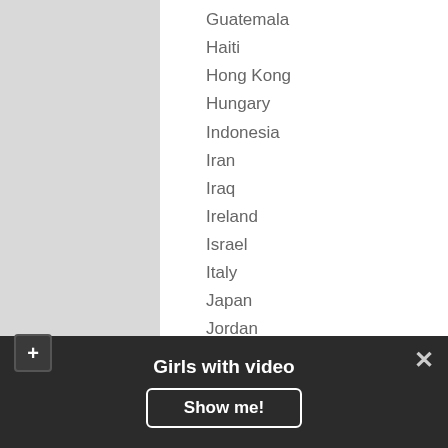Guatemala
Haiti
Hong Kong
Hungary
Indonesia
Iran
Iraq
Ireland
Israel
Italy
Japan
Jordan
Kazakhstan
Kyrgyzstan
Latvia
Lebanon
Liechtenstein
Lithuania
Girls with video
Show me!